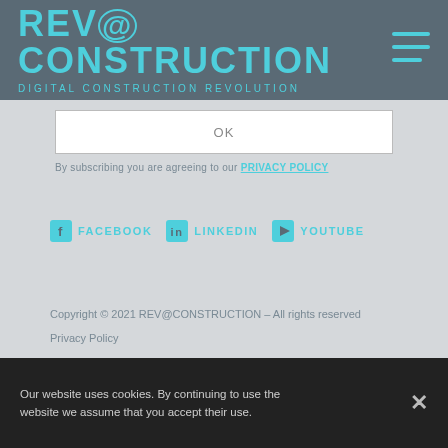REV@CONSTRUCTION DIGITAL CONSTRUCTION REVOLUTION
OK
By subscribing you are agreeing to our PRIVACY POLICY
FACEBOOK   LINKEDIN   YOUTUBE
Copyright © 2021 REV@CONSTRUCTION - All rights reserved
Privacy Policy
Sponsored by
[Figure (logo): Sponsor logos: telbozo, COMPETE, and two others]
Our website uses cookies. By continuing to use the website we assume that you accept their use.